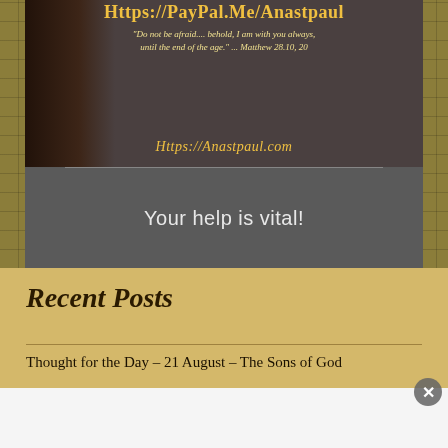[Figure (illustration): Promotional image with dark figure on left, PayPal donation link at top in gold text, scripture quote in italic, and website URL at bottom]
Your help is vital!
Recent Posts
Thought for the Day – 21 August – The Sons of God
Advertisements
[Figure (screenshot): MAC cosmetics advertisement banner showing lipsticks and SHOP NOW button]